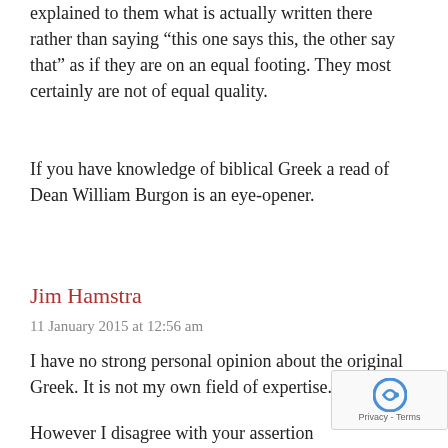explained to them what is actually written there rather than saying “this one says this, the other say that” as if they are on an equal footing. They most certainly are not of equal quality.
If you have knowledge of biblical Greek a read of Dean William Burgon is an eye-opener.
Jim Hamstra
11 January 2015 at 12:56 am
I have no strong personal opinion about the original Greek. It is not my own field of expertise.
However I disagree with your assertion that continually washing our robe the blood of the Lamb makes no s Regardless of which way you read passage it is a continual ongoing